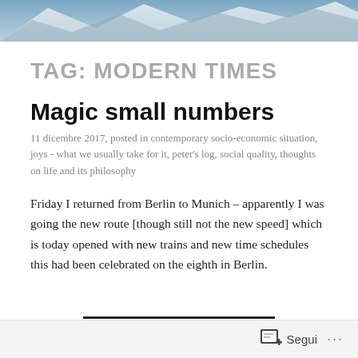[Figure (photo): Mountain landscape header photo with blue sky and rocky peaks]
TAG: MODERN TIMES
Magic small numbers
11 dicembre 2017, posted in contemporary socio-economic situation, joys - what we usually take for it, peter's log, social quality, thoughts on life and its philosophy
Friday I returned from Berlin to Munich – apparently I was going the new route [though still not the new speed] which is today opened with new trains and new time schedules this had been celebrated on the eighth in Berlin.
Segui